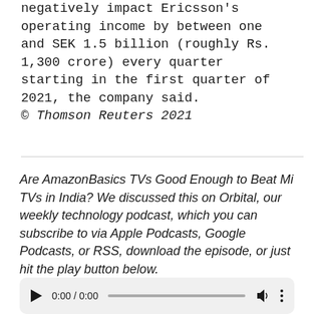negatively impact Ericsson's operating income by between one and SEK 1.5 billion (roughly Rs. 1,300 crore) every quarter starting in the first quarter of 2021, the company said.
© Thomson Reuters 2021
Are AmazonBasics TVs Good Enough to Beat Mi TVs in India? We discussed this on Orbital, our weekly technology podcast, which you can subscribe to via Apple Podcasts, Google Podcasts, or RSS, download the episode, or just hit the play button below.
[Figure (other): Audio player widget showing play button, time 0:00 / 0:00, progress bar, speaker icon, and three-dot menu]